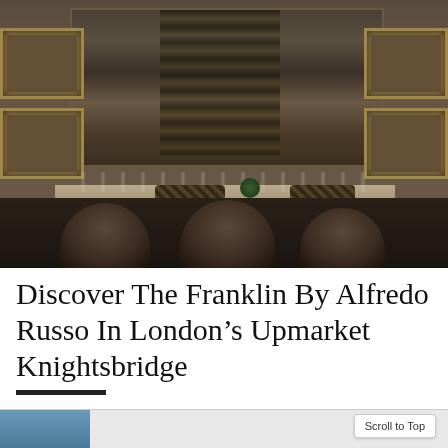[Figure (photo): Interior of The Franklin restaurant showing an elegant dark dining room with large ornate mirror reflecting patterned curtains, gold-framed artwork on dark walls on both sides, set dining tables with glassware and small plants, and plush dark velvet chairs in the foreground.]
Discover The Franklin By Alfredo Russo In London's Upmarket Knightsbridge
BY GEORGIE BENTLEY-BUCKLE